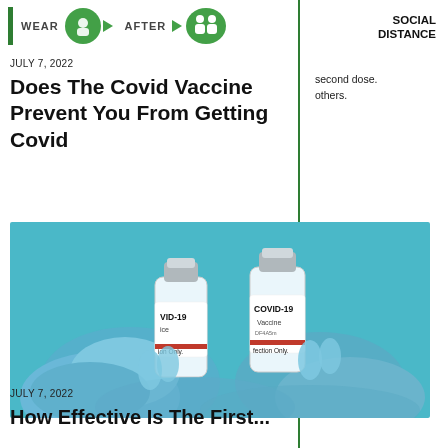WEAR  AFTER  SOCIAL DISTANCE
JULY 7, 2022
Does The Covid Vaccine Prevent You From Getting Covid
second dose. others.
[Figure (photo): Two hands wearing blue medical gloves holding two COVID-19 vaccine vials against a teal blue background. The vials are labeled 'COVID-19 Vaccine' with a red stripe.]
JULY 7, 2022
How Effective Is The First...